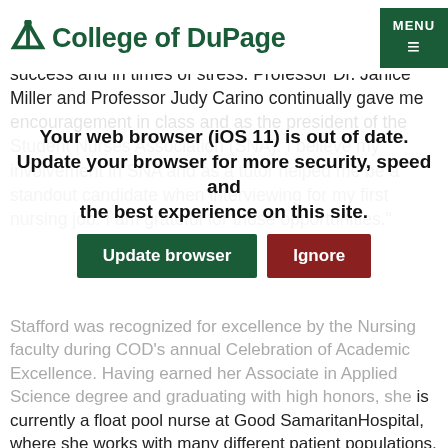College of DuPage
success and in times of stress. Professor Dr. Janice Miller and Professor Judy Carino continually gave me encouragement in class and as the president of the Student Nurses Association (SNA). I believe my involvement in SNA and as a tutor helped me be a standout candidate when interviewing for my first nursing job. I am grateful for those opportunities."
[Figure (screenshot): Browser update warning modal overlay with message 'Your web browser (iOS 11) is out of date. Update your browser for more security, speed and the best experience on this site.' with two buttons: 'Update browser' (green) and 'Ignore' (red/dark red).]
Stafford was recognized for excellence by the Nursing faculty during COD’s annual Celebration of Academic Excellence. Having earned her Associate in Applied Science degree and graduating with high honors, she is currently a float pool nurse at Good SamaritanHospital, where she works with many different patient populations, from step-down critical care to behavioral health. She is also pursuing her Bachelor of Science in Nursing at Purdue Northwest